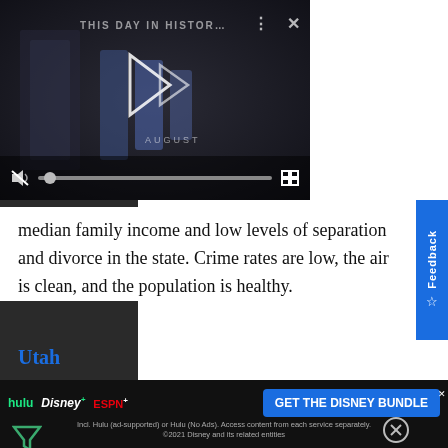[Figure (screenshot): Video player showing 'This Day in History' with play button, muted icon, progress bar, and fullscreen controls on dark background. Right panel shows title text 'This Day in History' on dark grey background.]
median family income and low levels of separation and divorce in the state. Crime rates are low, the air is clean, and the population is healthy.
Utah
Utah has the third-best quality of life in the United States. Utah's economy is thriving and ties Nebraska for lowest rate of unemployment in the nation. Job
[Figure (screenshot): Advertisement banner for Disney Bundle (Hulu, Disney+, ESPN+) with 'GET THE DISNEY BUNDLE' call-to-action button and disclaimer text.]